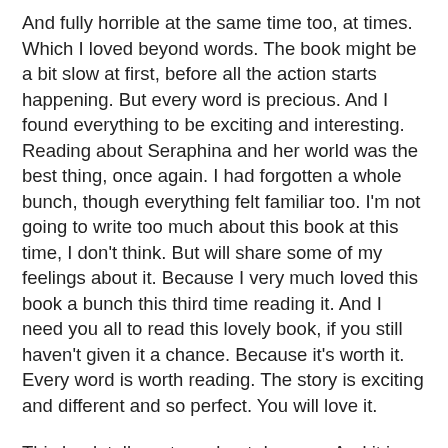And fully horrible at the same time too, at times. Which I loved beyond words. The book might be a bit slow at first, before all the action starts happening. But every word is precious. And I found everything to be exciting and interesting. Reading about Seraphina and her world was the best thing, once again. I had forgotten a whole bunch, though everything felt familiar too. I'm not going to write too much about this book at this time, I don't think. But will share some of my feelings about it. Because I very much loved this book a bunch this third time reading it. And I need you all to read this lovely book, if you still haven't given it a chance. Because it's worth it. Every word is worth reading. The story is exciting and different and so perfect. You will love it.
This book tells a story about dragons. And it is the very most exciting story. This book is a mix of fantasy and history and I loved every moment of it. I loved how it was old fashioned in many things. And yet very much fantasy too, with the dragons. The story takes place in the kingdom of Goredd, and there has been peace between dragons and humans for the past forty years. Well, mostly peace. There are still certain people who are angry about it, and they were a bit